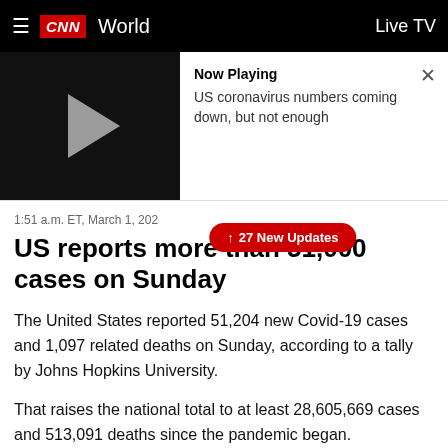CNN World  Live TV
[Figure (screenshot): Video player thumbnail with play button showing black background, and Now Playing panel with text 'US coronavirus numbers coming down, but not enough']
1:51 a.m. ET, March 1, 202[1]
↑ 27 New Updates
US reports more than 51,000 cases on Sunday
The United States reported 51,204 new Covid-19 cases and 1,097 related deaths on Sunday, according to a tally by Johns Hopkins University.
That raises the national total to at least 28,605,669 cases and 513,091 deaths since the pandemic began.